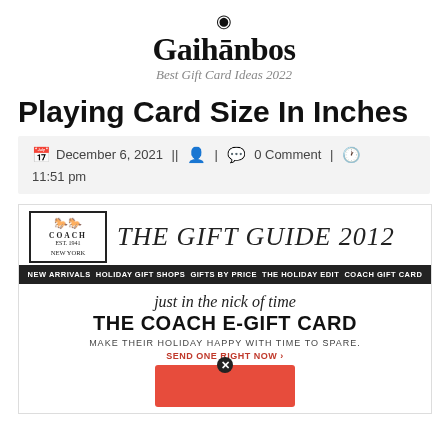Gaihanbos
Best Gift Card Ideas 2022
Playing Card Size In Inches
December 6, 2021 || [user icon] | [comment icon] 0 Comment | [clock icon] 11:51 pm
[Figure (screenshot): Coach Gift Guide 2012 promotional email screenshot showing logo, navigation bar with NEW ARRIVALS, HOLIDAY GIFT SHOPS, GIFTS BY PRICE, THE HOLIDAY EDIT, COACH GIFT CARD, italic heading 'just in the nick of time', bold heading 'THE COACH E-GIFT CARD', tagline 'MAKE THEIR HOLIDAY HAPPY WITH TIME TO SPARE.', red link 'SEND ONE RIGHT NOW', and red gift card image at bottom.]